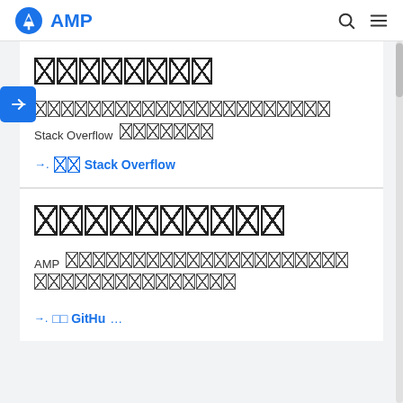AMP
XXXXXXXX
XXXXXXXXXXXXXXXXXXXXXXXXXXXXXXXXXXXXXXXXXXXXXXXXXX Stack Overflow XXXXXXXX
□□ Stack Overflow
XXXXXXXXXX
AMP XXXXXXXXXXXXXXXXXXXXXXXXXXXXXXXXXXXXXXXXXXXXXXXXXX XXXXXXXXXXXXXXXXXXXXXXXXXXXXXXXXXX
□□ GitHu...